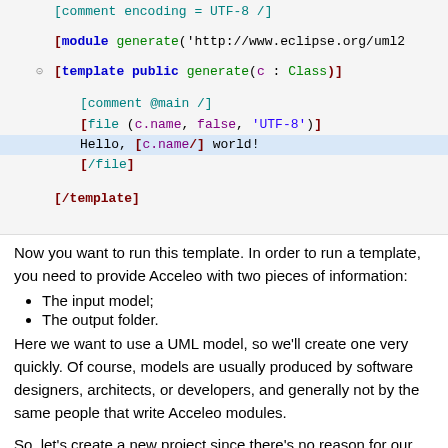[Figure (screenshot): Code editor screenshot showing an Acceleo template file with syntax highlighting. Lines shown: [comment encoding = UTF-8 /], [module generate('http://www.eclipse.org/uml2...], [template public generate(c : Class)], [comment @main /], [file (c.name, false, 'UTF-8')], Hello, [c.name/] world! (highlighted), [/file], [/template]]
Now you want to run this template. In order to run a template, you need to provide Acceleo with two pieces of information:
The input model;
The output folder.
Here we want to use a UML model, so we'll create one very quickly. Of course, models are usually produced by software designers, architects, or developers, and generally not by the same people that write Acceleo modules.
So, let's create a new project since there's no reason for our models to be in the same project as our